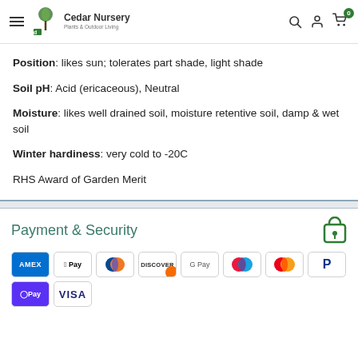Cedar Nursery - Plants & Outdoor Living
Position: likes sun; tolerates part shade, light shade
Soil pH: Acid (ericaceous), Neutral
Moisture: likes well drained soil, moisture retentive soil, damp & wet soil
Winter hardiness: very cold to -20C
RHS Award of Garden Merit
Payment & Security
[Figure (other): Payment method icons: American Express, Apple Pay, Diners Club, Discover, Google Pay, Maestro, Mastercard, PayPal, OPay, Visa]